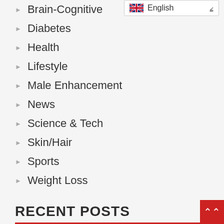Brain-Cognitive
Diabetes
Health
Lifestyle
Male Enhancement
News
Science & Tech
Skin/Hair
Sports
Weight Loss
RECENT POSTS